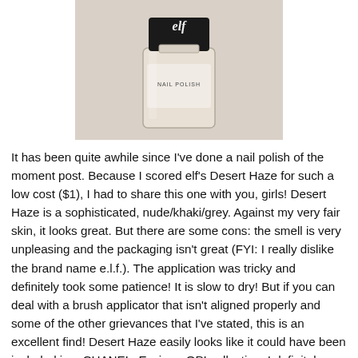[Figure (photo): A bottle of e.l.f. nail polish in a light nude/beige shade, with a glass bottle and black cap, photographed on a white surface. The label reads 'elf NAIL POLISH'.]
It has been quite awhile since I've done a nail polish of the moment post. Because I scored elf's Desert Haze for such a low cost ($1), I had to share this one with you, girls! Desert Haze is a sophisticated, nude/khaki/grey. Against my very fair skin, it looks great. But there are some cons: the smell is very unpleasing and the packaging isn't great (FYI: I really dislike the brand name e.l.f.). The application was tricky and definitely took some patience! It is slow to dry! But if you can deal with a brush applicator that isn't aligned properly and some of the other grievances that I've stated, this is an excellent find! Desert Haze easily looks like it could have been included in a CHANEL, Essie or OPI collection. I definitely recommend picking a bottle up (I found mine at Big Lots). I used OPI's base coat and top coat and haven't experienced any premature chipping. It's a beautiful shade!